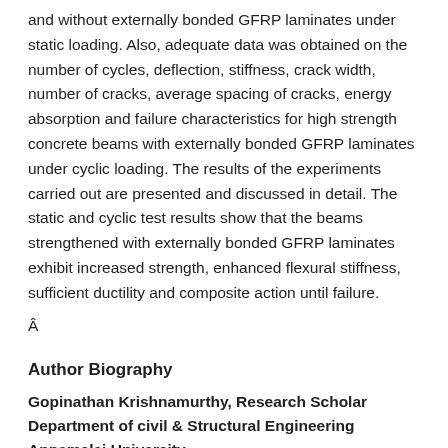and without externally bonded GFRP laminates under static loading. Also, adequate data was obtained on the number of cycles, deflection, stiffness, crack width, number of cracks, average spacing of cracks, energy absorption and failure characteristics for high strength concrete beams with externally bonded GFRP laminates under cyclic loading. The results of the experiments carried out are presented and discussed in detail. The static and cyclic test results show that the beams strengthened with externally bonded GFRP laminates exhibit increased strength, enhanced flexural stiffness, sufficient ductility and composite action until failure.
Â
Author Biography
Gopinathan Krishnamurthy, Research Scholar Department of civil & Structural Engineering Annamalai University